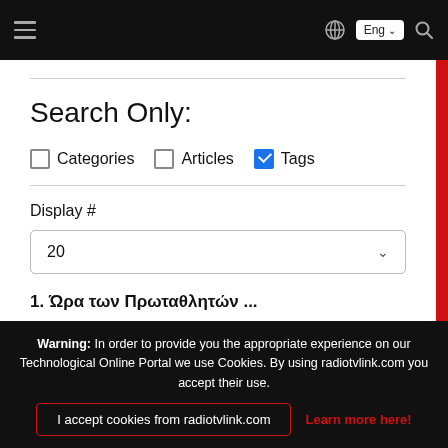Navigation bar with hamburger menu, globe icon, Eng language selector, and search icon
Search Only:
Categories (unchecked), Articles (unchecked), Tags (checked)
Display #
20
1. Ώρα των Πρωταθλητών ...
Warning: In order to provide you the appropriate experience on our Technological Online Portal we use Cookies. By using radiotvlink.com you accept their use.
I accept cookies from radiotvlink.com
Learn more here!